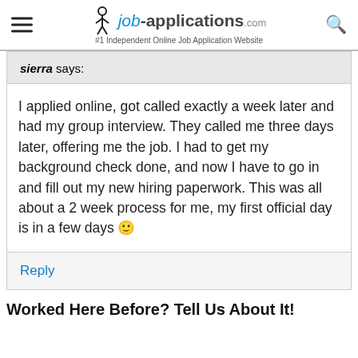job-applications.com #1 Independent Online Job Application Website
sierra says:
I applied online, got called exactly a week later and had my group interview. They called me three days later, offering me the job. I had to get my background check done, and now I have to go in and fill out my new hiring paperwork. This was all about a 2 week process for me, my first official day is in a few days 🙂
Reply
Worked Here Before? Tell Us About It!